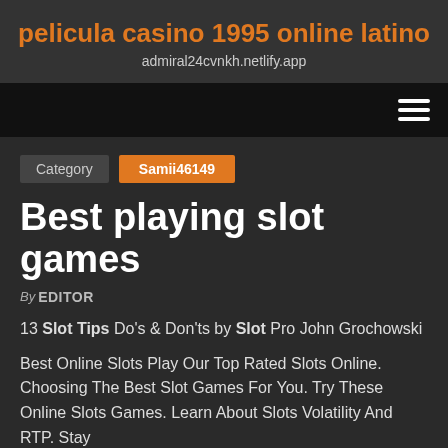pelicula casino 1995 online latino
admiral24cvnkh.netlify.app
[Figure (other): Navigation bar with hamburger menu icon (three horizontal lines) on the right side, black background]
Category   Samii46149
Best playing slot games
By EDITOR
13 Slot Tips Do's & Don'ts by Slot Pro John Grochowski
Best Online Slots Play Our Top Rated Slots Online. Choosing The Best Slot Games For You. Try These Online Slots Games. Learn About Slots Volatility And RTP. Stay